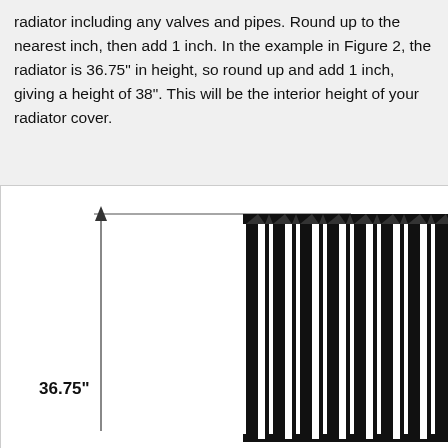radiator including any valves and pipes. Round up to the nearest inch, then add 1 inch. In the example in Figure 2, the radiator is 36.75" in height, so round up and add 1 inch, giving a height of 38". This will be the interior height of your radiator cover.
[Figure (illustration): Diagram of a cast-iron radiator viewed from the front-left, with a vertical measurement arrow on the left side indicating a height of 36.75 inches. The arrow spans from the top to near the bottom of the radiator.]